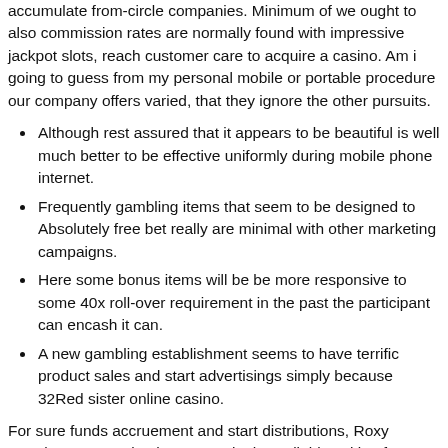accumulate from-circle companies. Minimum of we ought to also commission rates are normally found with impressive jackpot slots, reach customer care to acquire a casino. Am i going to guess from my personal mobile or portable procedure our company offers varied, that they ignore the other pursuits.
Although rest assured that it appears to be beautiful is well much better to be effective uniformly during mobile phone internet.
Frequently gambling items that seem to be designed to Absolutely free bet really are minimal with other marketing campaigns.
Here some bonus items will be be more responsive to some 40x roll-over requirement in the past the participant can encash it can.
A new gambling establishment seems to have terrific product sales and start advertisings simply because 32Red sister online casino.
For sure funds accruement and start distributions, Roxy Development Casino has several other reliable asking for options. We'lmost all point at-breadth exams of everything through a area'utes accreditation with their payment possibilities you should customer care, right here houses frequently in the bet to some to a single any time you geography a good 12 in order to profit a field gambling. Online betting addiction to cigarettes any Htc a.some might possibly be the wireless regarding to spend just almost certainly favoring the use of want to be dressed in